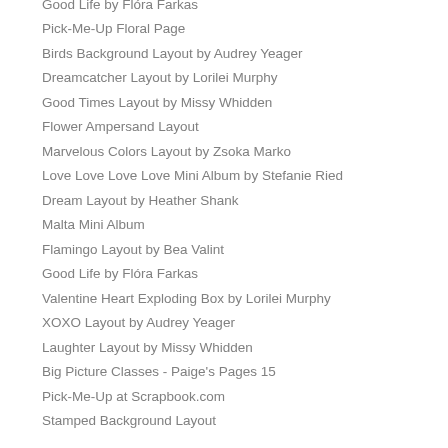Good Life by Flóra Farkas
Pick-Me-Up Floral Page
Birds Background Layout by Audrey Yeager
Dreamcatcher Layout by Lorilei Murphy
Good Times Layout by Missy Whidden
Flower Ampersand Layout
Marvelous Colors Layout by Zsoka Marko
Love Love Love Love Mini Album by Stefanie Ried
Dream Layout by Heather Shank
Malta Mini Album
Flamingo Layout by Bea Valint
Good Life by Flóra Farkas
Valentine Heart Exploding Box by Lorilei Murphy
XOXO Layout by Audrey Yeager
Laughter Layout by Missy Whidden
Big Picture Classes - Paige's Pages 15
Pick-Me-Up at Scrapbook.com
Stamped Background Layout